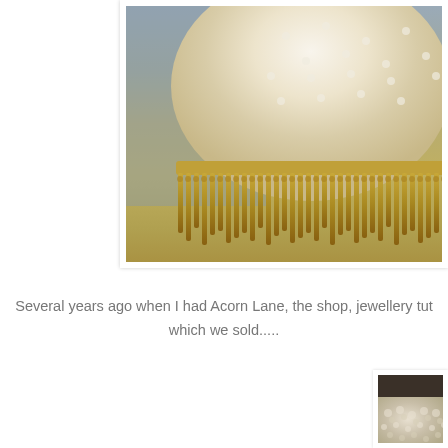[Figure (photo): Close-up photograph of a cream/ivory colored fabric item (appears to be a hat or decorative object) with a textured dotted surface and decorative twisted fringe trim around the base, photographed against a warm yellow-green background]
Several years ago when I had Acorn Lane, the shop, jewellery tut... which we sold.....
[Figure (photo): Partial photograph showing what appears to be a lace or crocheted textile item in cream/beige tones against a light background]